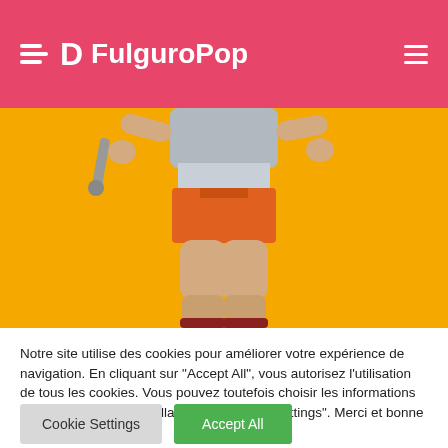FulguroPop
[Figure (photo): Action figure of He-Man character from Masters of the Universe, showing the lower torso and legs of a muscular figure with orange shorts, grey armor, and red boots, against a yellow background.]
Notre site utilise des cookies pour améliorer votre expérience de navigation. En cliquant sur "Accept All", vous autorisez l'utilisation de tous les cookies. Vous pouvez toutefois choisir les informations que vous partagez en allant dans "Cookie Settings". Merci et bonne lecture sur FulguroPop
Cookie Settings
Accept All